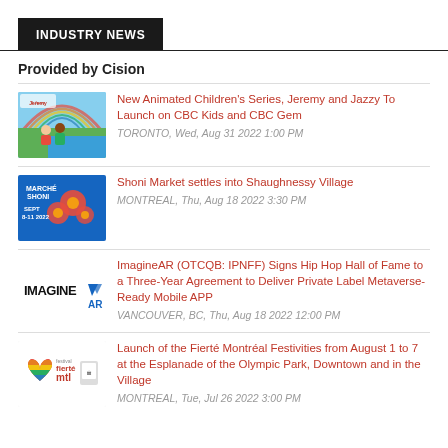INDUSTRY NEWS
Provided by Cision
New Animated Children's Series, Jeremy and Jazzy To Launch on CBC Kids and CBC Gem — TORONTO, Wed, Aug 31 2022 1:00 PM
Shoni Market settles into Shaughnessy Village — MONTREAL, Thu, Aug 18 2022 3:30 PM
ImagineAR (OTCQB: IPNFF) Signs Hip Hop Hall of Fame to a Three-Year Agreement to Deliver Private Label Metaverse-Ready Mobile APP — VANCOUVER, BC, Thu, Aug 18 2022 12:00 PM
Launch of the Fierté Montréal Festivities from August 1 to 7 at the Esplanade of the Olympic Park, Downtown and in the Village — MONTREAL, Tue, Jul 26 2022 3:00 PM